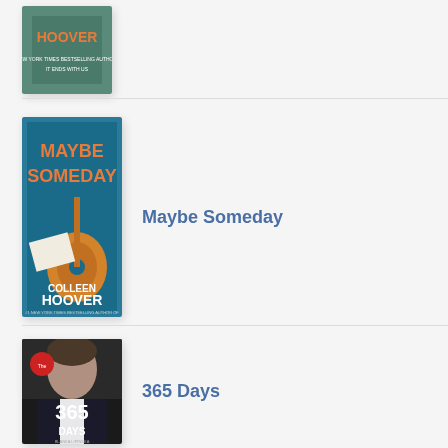[Figure (illustration): Book cover of a Colleen Hoover book (partially visible at top), teal/green tones with 'HOOVER' visible]
[Figure (illustration): Book cover of 'Maybe Someday' by Colleen Hoover, featuring a guitar and orange text]
Maybe Someday
[Figure (illustration): Book cover of '365 Days' by Blanka Lipinska, featuring a man's face and bold white '365 DAYS' text on dark background]
365 Days